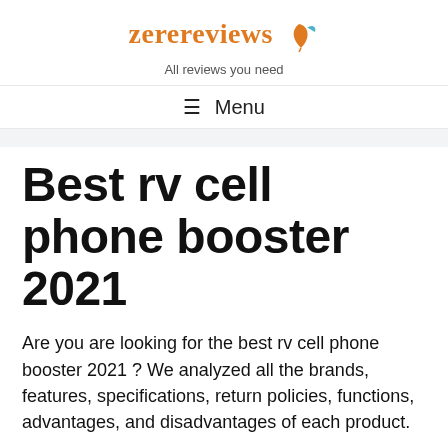zerereviews — All reviews you need
☰ Menu
Best rv cell phone booster 2021
Are you are looking for the best rv cell phone booster 2021 ? We analyzed all the brands, features, specifications, return policies, functions, advantages, and disadvantages of each product.